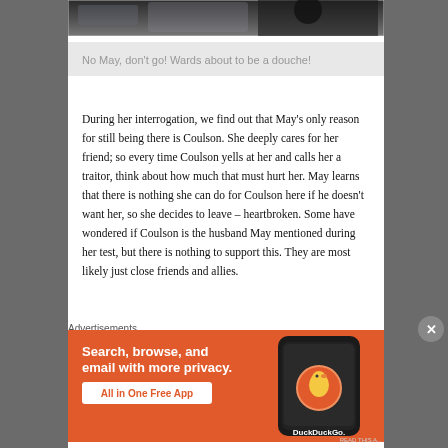[Figure (photo): Partial photo visible at top — dark image with blurred winter/night scene]
No May, don't go! Wards about to be a douche!
During her interrogation, we find out that May's only reason for still being there is Coulson. She deeply cares for her friend; so every time Coulson yells at her and calls her a traitor, think about how much that must hurt her. May learns that there is nothing she can do for Coulson here if he doesn't want her, so she decides to leave – heartbroken. Some have wondered if Coulson is the husband May mentioned during her test, but there is nothing to support this. They are most likely just close friends and allies.
Advertisements
[Figure (screenshot): DuckDuckGo advertisement banner with orange background. Text: Search, browse, and email with more privacy. All in One Free App. Shows a phone with DuckDuckGo logo.]